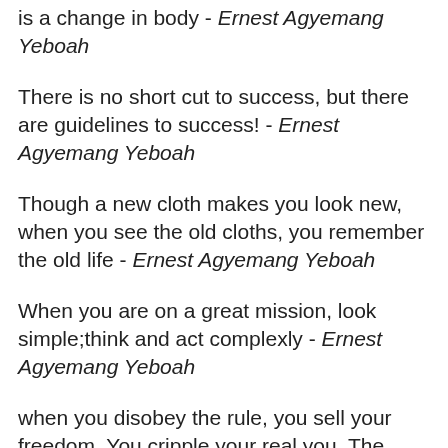is a change in body - Ernest Agyemang Yeboah
There is no short cut to success, but there are guidelines to success! - Ernest Agyemang Yeboah
Though a new cloth makes you look new, when you see the old cloths, you remember the old life - Ernest Agyemang Yeboah
When you are on a great mission, look simple;think and act complexly - Ernest Agyemang Yeboah
when you disobey the rule, you sell your freedom. You cripple your real you. The